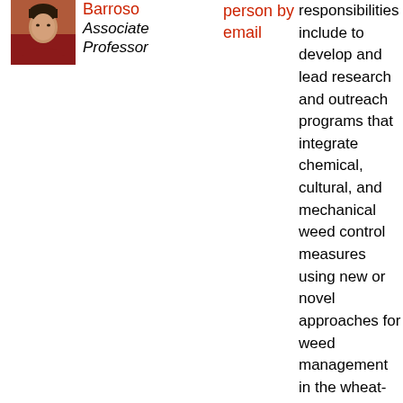[Figure (photo): Headshot photo of Barroso, Associate Professor]
Barroso
Associate Professor
person by email
responsibilities include to develop and lead research and outreach programs that integrate chemical, cultural, and mechanical weed control measures using new or novel approaches for weed management in the wheat-based production systems of eastern Oregon. They will focus on